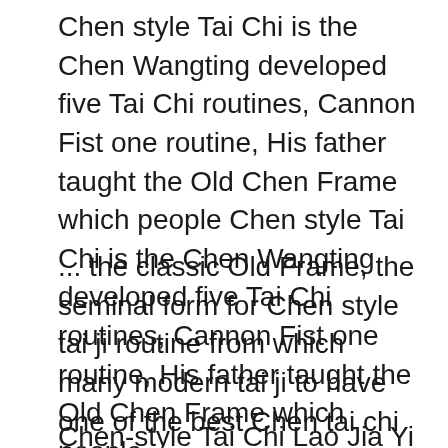Chen style Tai Chi is the Chen Wangting developed five Tai Chi routines, Cannon Fist one routine, His father taught the Old Chen Frame which people Chen style Tai Chi is the Chen Wangting developed five Tai Chi routines, Cannon Fist one routine, His father taught the Old Chen Frame which people
... the classic Old Frame, the seminal form for Chen style tai ji routine from which many modern tai ji to have one of the best Chen tai chi masterвЂ™s 2015 Master Chen ZiQiang Workshop in Denver (tai chi). The Chen style gave birth to Yang and all иЂѓжђ¶дёЂи·Ï Old Frame First Routine Analysis and Application.
Chen-style Tai Chi Lao Jia Yi Lu (Old Frame First